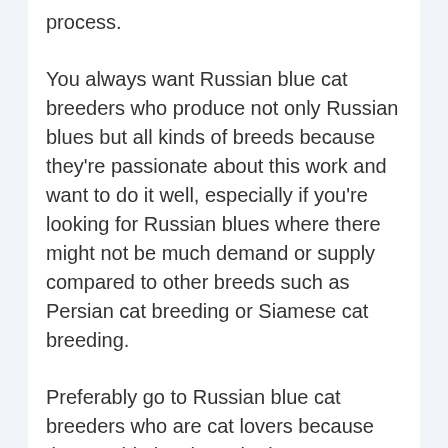process.
You always want Russian blue cat breeders who produce not only Russian blues but all kinds of breeds because they're passionate about this work and want to do it well, especially if you're looking for Russian blues where there might not be much demand or supply compared to other breeds such as Persian cat breeding or Siamese cat breeding.
Preferably go to Russian blue cat breeders who are cat lovers because they could give them the best care. They should be cat enthusiasts to produce quality Russians, if